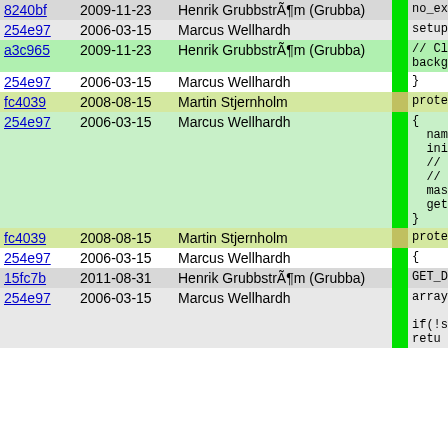| hash | date | author | bar | code |
| --- | --- | --- | --- | --- |
| 8240bf | 2009-11-23 | Henrik GrubbstrÃ¶m (Grubba) |  | no_exp |
| 254e97 | 2006-03-15 | Marcus Wellhardh |  | setup_ |
| a3c965 | 2009-11-23 | Henrik GrubbstrÃ¶m (Grubba) |  | // Cle
backgr |
| 254e97 | 2006-03-15 | Marcus Wellhardh |  | } |
| fc4039 | 2008-08-15 | Martin Stjernholm |  | protecte |
| 254e97 | 2006-03-15 | Marcus Wellhardh |  | {
  name =
  init_d
  // Sup
  // but
  master
  get_pl
} |
| fc4039 | 2008-08-15 | Martin Stjernholm |  | protecte |
| 254e97 | 2006-03-15 | Marcus Wellhardh |  | { |
| 15fc7b | 2011-08-31 | Henrik GrubbstrÃ¶m (Grubba) |  | GET_DB |
| 254e97 | 2006-03-15 | Marcus Wellhardh |  | array

if(!si
retu |